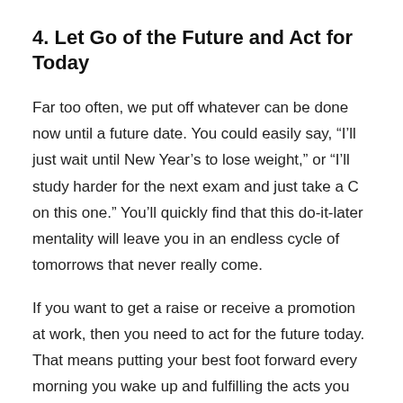4. Let Go of the Future and Act for Today
Far too often, we put off whatever can be done now until a future date. You could easily say, “I’ll just wait until New Year’s to lose weight,” or “I’ll study harder for the next exam and just take a C on this one.” You’ll quickly find that this do-it-later mentality will leave you in an endless cycle of tomorrows that never really come.
If you want to get a raise or receive a promotion at work, then you need to act for the future today. That means putting your best foot forward every morning you wake up and fulfilling the acts you need to obtain your intended outcome daily. You may not expect to achieve your goal until far into the future, but completing tasks now to achieve the ensuing goals will give you the motivation